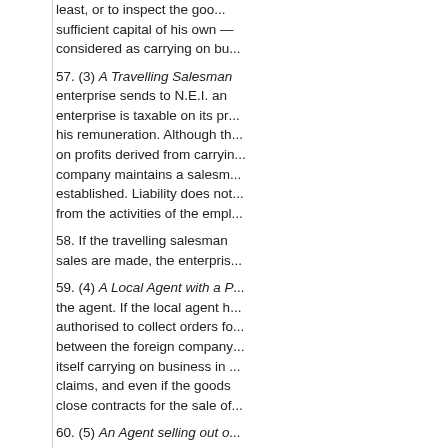least, or to inspect the goods or to ...sufficient capital of his own — ...considered as carrying on bus...
57. (3) A Travelling Salesman ... enterprise sends to N.E.I. an ... enterprise is taxable on its pr... his remuneration. Although th... on profits derived from carryin... company maintains a salesm... established. Liability does not... from the activities of the empl...
58. If the travelling salesman ... sales are made, the enterpris...
59. (4) A Local Agent with a P... the agent. If the local agent h... authorised to collect orders fo... between the foreign company... itself carrying on business in ... claims, and even if the goods ... close contracts for the sale of...
60. (5) An Agent selling out o... general principles of liability, h... enterprise, and if the agent m... and would be taxable on its p... of them in his own name, the...